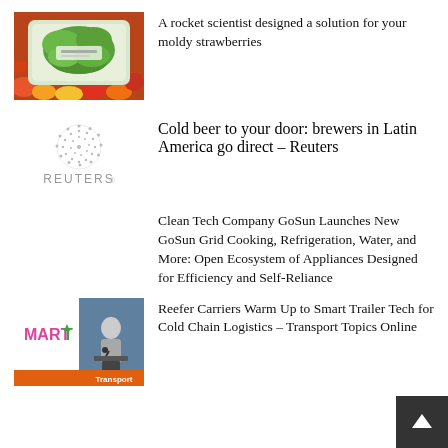[Figure (photo): Photo of a tray of fresh salad greens surrounded by colorful vegetables and fruits]
A rocket scientist designed a solution for your moldy strawberries
[Figure (logo): Reuters logo — dotted globe above the word REUTERS]
Cold beer to your door: brewers in Latin America go direct – Reuters
Clean Tech Company GoSun Launches New GoSun Grid Cooking, Refrigeration, Water, and More: Open Ecosystem of Appliances Designed for Efficiency and Self-Reliance
[Figure (photo): Composite image: MARTT logo on left in pink/magenta, and a photo of a man at a podium with a microphone on the right, with Transport label at bottom]
Reefer Carriers Warm Up to Smart Trailer Tech for Cold Chain Logistics – Transport Topics Online